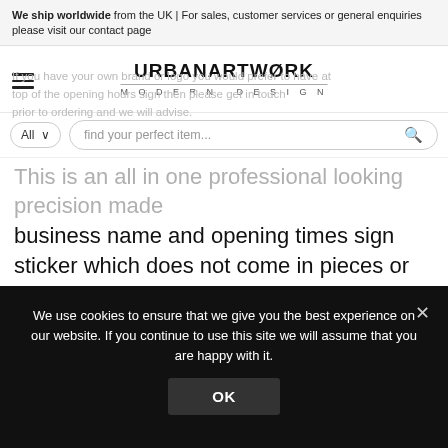We ship worldwide from the UK | For sales, customer services or general enquiries please visit our contact page
[Figure (logo): Urban Artwork Modern Design logo with hamburger menu icon]
find your perfect item...
This is an all in one professional looking precision made business name and opening times sign sticker which does not come in pieces or have a background, so will look professionally painted on when applied, comes with easy to follow instructions. Has no background, so will not bubble or peel off easy. Opening Hours signs are fast and easy to apply without tools in less than a minute. Lasts 5+ years outdoors
We use cookies to ensure that we give you the best experience on our website. If you continue to use this site we will assume that you are happy with it.